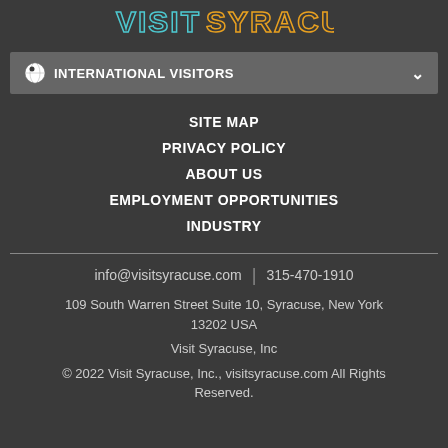[Figure (logo): Visit Syracuse logo with stylized text in blue and orange/yellow colors]
INTERNATIONAL VISITORS
SITE MAP
PRIVACY POLICY
ABOUT US
EMPLOYMENT OPPORTUNITIES
INDUSTRY
info@visitsyracuse.com | 315-470-1910
109 South Warren Street Suite 10, Syracuse, New York 13202 USA
Visit Syracuse, Inc
© 2022 Visit Syracuse, Inc., visitsyracuse.com All Rights Reserved.